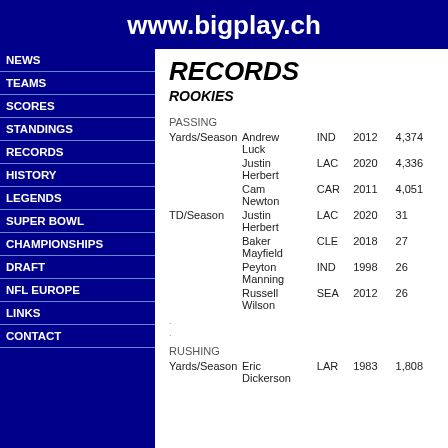www.bigplay.ch
NEWS
TEAMS
SCORES
STANDINGS
RECORDS
HISTORY
LEGENDS
SUPER BOWL
CHAMPIONSHIPS
DRAFT
NFL EUROPE
LINKS
CONTACT
RECORDS
ROOKIES
| Category | Player | Team | Year | Value |
| --- | --- | --- | --- | --- |
| PASSING |  |  |  |  |
| Yards/Season | Andrew Luck | IND | 2012 | 4,374 |
|  | Justin Herbert | LAC | 2020 | 4,336 |
|  | Cam Newton | CAR | 2011 | 4,051 |
| TD/Season | Justin Herbert | LAC | 2020 | 31 |
|  | Baker Mayfield | CLE | 2018 | 27 |
|  | Peyton Manning | IND | 1998 | 26 |
|  | Russell Wilson | SEA | 2012 | 26 |
| RUSHING |  |  |  |  |
| Yards/Season | Eric Dickerson | LAR | 1983 | 1,808 |